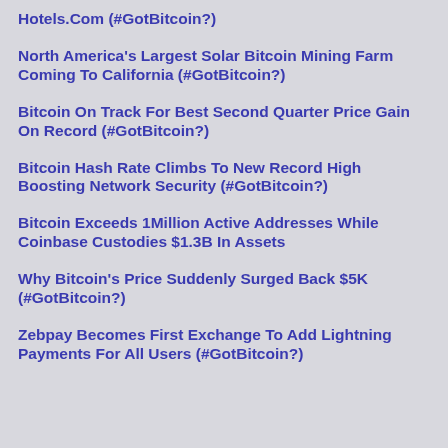Hotels.Com (#GotBitcoin?)
North America's Largest Solar Bitcoin Mining Farm Coming To California (#GotBitcoin?)
Bitcoin On Track For Best Second Quarter Price Gain On Record (#GotBitcoin?)
Bitcoin Hash Rate Climbs To New Record High Boosting Network Security (#GotBitcoin?)
Bitcoin Exceeds 1Million Active Addresses While Coinbase Custodies $1.3B In Assets
Why Bitcoin's Price Suddenly Surged Back $5K (#GotBitcoin?)
Zebpay Becomes First Exchange To Add Lightning Payments For All Users (#GotBitcoin?)